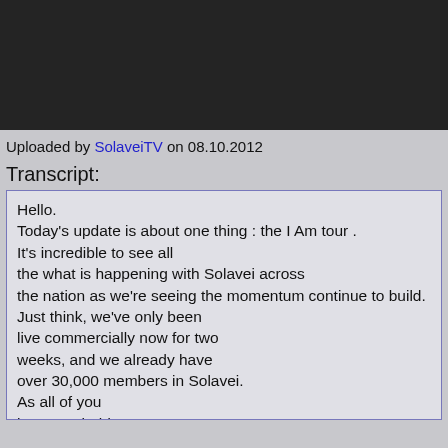[Figure (other): Dark video player placeholder area]
Uploaded by SolaveiTV on 08.10.2012
Transcript:
Hello.
Today's update is about one thing : the I Am tour .
It's incredible to see all
the what is happening with Solavei across
the nation as we're seeing the momentum continue to build.
Just think, we've only been
live commercially now for two
weeks, and we already have
over 30,000 members in Solavei.
As all of you
know we hold our